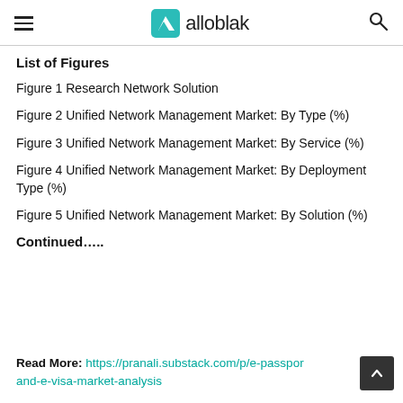alloblak
List of Figures
Figure 1 Research Network Solution
Figure 2 Unified Network Management Market: By Type (%)
Figure 3 Unified Network Management Market: By Service (%)
Figure 4 Unified Network Management Market: By Deployment Type (%)
Figure 5 Unified Network Management Market: By Solution (%)
Continued…..
Read More: https://pranali.substack.com/p/e-passport-and-e-visa-market-analysis